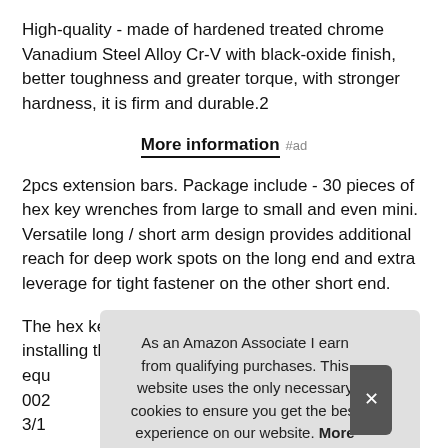High-quality - made of hardened treated chrome Vanadium Steel Alloy Cr-V with black-oxide finish, better toughness and greater torque, with stronger hardness, it is firm and durable.2
More information #ad
2pcs extension bars. Package include - 30 pieces of hex key wrenches from large to small and even mini. Versatile long / short arm design provides additional reach for deep work spots on the long end and extra leverage for tight fastener on the other short end.
The hex key allen wrench set for disassembling and installing the equ 002 3/1
As an Amazon Associate I earn from qualifying purchases. This website uses the only necessary cookies to ensure you get the best experience on our website. More information